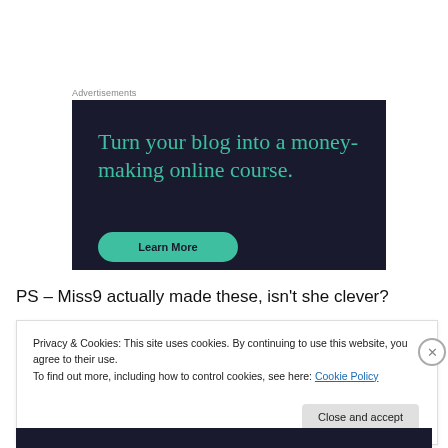Advertisements
[Figure (illustration): Dark navy advertisement banner reading 'Turn your blog into a money-making online course.' with a teal Learn More button at the bottom.]
PS – Miss9 actually made these, isn't she clever?
Privacy & Cookies: This site uses cookies. By continuing to use this website, you agree to their use.
To find out more, including how to control cookies, see here: Cookie Policy